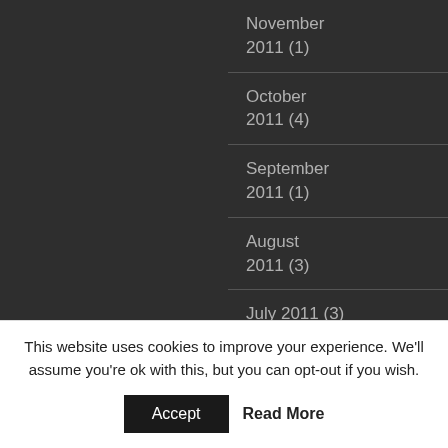November 2011 (1)
October 2011 (4)
September 2011 (1)
August 2011 (3)
July 2011 (3)
June 2011 (3)
This website uses cookies to improve your experience. We'll assume you're ok with this, but you can opt-out if you wish.
Accept
Read More